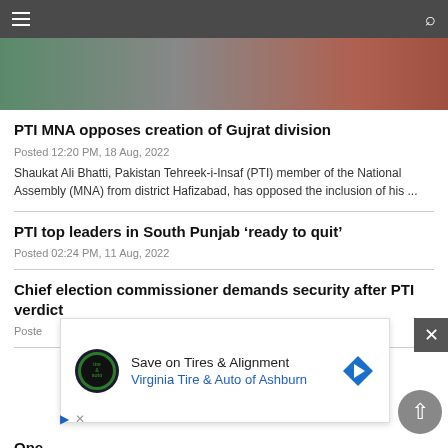[Figure (photo): Partial photo of a person, cropped at top of page]
PTI MNA opposes creation of Gujrat division
Posted 12:20 PM, 18 Aug, 2022
Shaukat Ali Bhatti, Pakistan Tehreek-i-Insaf (PTI) member of the National Assembly (MNA) from district Hafizabad, has opposed the inclusion of his ...
PTI top leaders in South Punjab ‘ready to quit’
Posted 02:24 PM, 11 Aug, 2022
Chief election commissioner demands security after PTI verdict
Poste
One
Poste
[Figure (screenshot): Advertisement overlay: Save on Tires & Alignment, Virginia Tire & Auto of Ashburn]